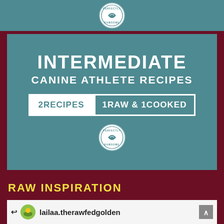[Figure (logo): Circular badge/logo with leaf icon and text 'PERFECTLY RAWSOME' on teal background, top banner]
[Figure (infographic): Teal card with bold white text: INTERMEDIATE CANINE ATHLETE RECIPES, 2RECIPES 1RAW & 1COOKED, with circular badge logo at bottom]
RAW INSPIRATION
[Figure (screenshot): Instagram post screenshot from lailaa.therawfedgolden showing green leaves/vegetables]